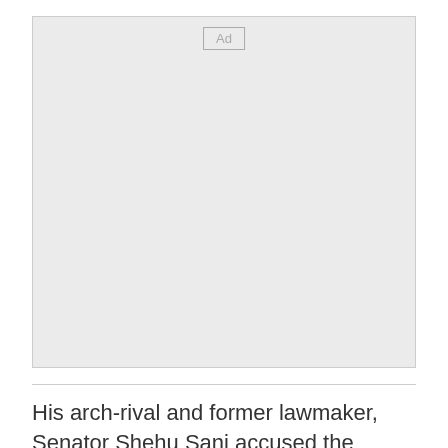[Figure (other): Advertisement placeholder box with 'Ad' label, light gray background]
His arch-rival and former lawmaker, Senator Shehu Sani accused the Buhari regime of wanting to eat its cake and have it. He said